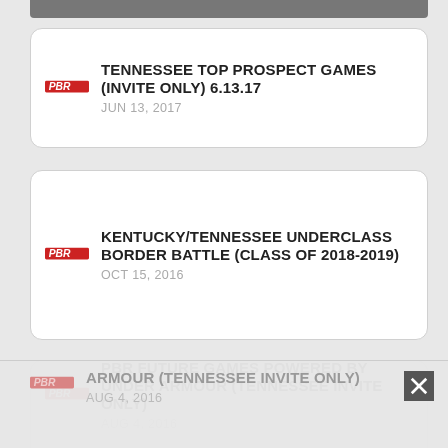TENNESSEE TOP PROSPECT GAMES (INVITE ONLY) 6.13.17
JUN 13, 2017
KENTUCKY/TENNESSEE UNDERCLASS BORDER BATTLE (CLASS OF 2018-2019)
OCT 15, 2016
PBR FUTURE GAMES POWERED BY UNDER ARMOUR (TENNESSEE INVITE ONLY)
AUG 4, 2016